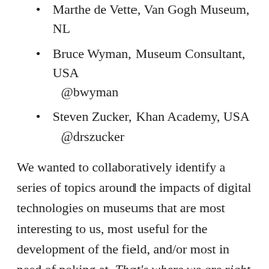Marthe de Vette, Van Gogh Museum, NL
Bruce Wyman, Museum Consultant, USA @bwyman
Steven Zucker, Khan Academy, USA @drszucker
We wanted to collaboratively identify a series of topics around the impacts of digital technologies on museums that are most interesting to us, most useful for the development of the field, and/or most in need of poking at. That's where we are right now, sorting out which topics to tackle.
Originally, we thought we'd use people's existing blogs to make use of their built-in audiences, but for the sake of continuity and critical mass, we